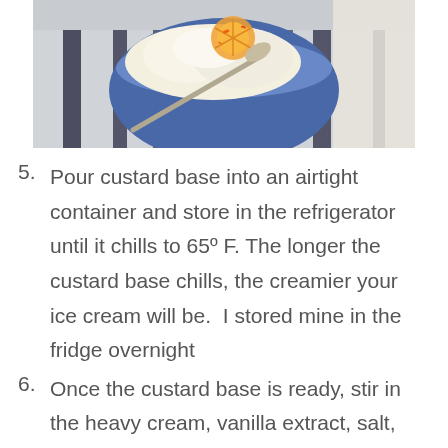[Figure (photo): Overhead photo of ice cream in a blue and white striped bowl with a spoon, garnished with orange slices and zest, placed on a striped cloth napkin]
5. Pour custard base into an airtight container and store in the refrigerator until it chills to 65º F. The longer the custard base chills, the creamier your ice cream will be.  I stored mine in the fridge overnight
6. Once the custard base is ready, stir in the heavy cream, vanilla extract, salt,